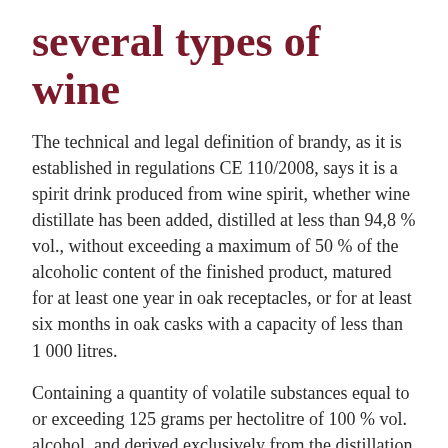several types of wine
The technical and legal definition of brandy, as it is established in regulations CE 110/2008, says it is a spirit drink produced from wine spirit, whether wine distillate has been added, distilled at less than 94,8 % vol., without exceeding a maximum of 50 % of the alcoholic content of the finished product, matured for at least one year in oak receptacles, or for at least six months in oak casks with a capacity of less than 1 000 litres.
Containing a quantity of volatile substances equal to or exceeding 125 grams per hectolitre of 100 % vol. alcohol, and derived exclusively from the distillation or redistillation of the raw materials used. The methanol content should not exceed 200 grams per hectolitre of 100 % vol. alcohol. The minimum alcoholic strength by volume of brandy shall be 36 %